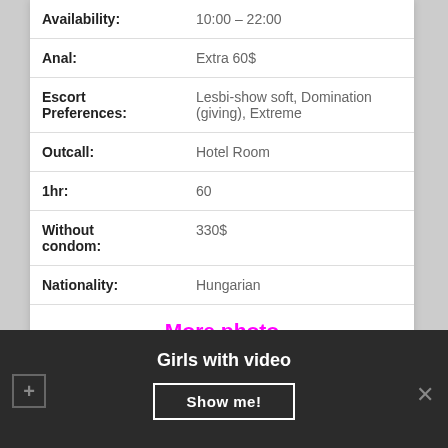| Availability: | 10:00 – 22:00 |
| Anal: | Extra 60$ |
| Escort Preferences: | Lesbi-show soft, Domination (giving), Extreme |
| Outcall: | Hotel Room |
| 1hr: | 60 |
| Without condom: | 330$ |
| Nationality: | Hungarian |
More photo
I love all things pleasurable in life and...
Girls with video
Show me!